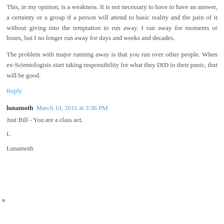This, in my opinion, is a weakness. It is not necessary to have to have an answer, a certainty or a group if a person will attend to basic reality and the pain of it without giving into the temptation to run away. I run away for moments or hours, but I no longer run away for days and weeks and decades.
The problem with major running away is that you run over other people. When ex-Scientologists start taking responsibility for what they DID in their panic, that will be good.
Reply
lunamoth  March 10, 2011 at 3:36 PM
Just Bill - You are a class act.
L
Lunamoth